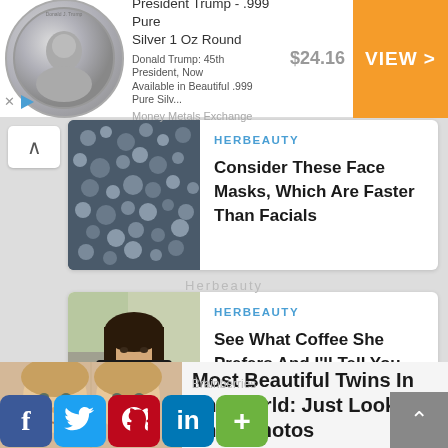[Figure (other): Advertisement banner: President Trump .999 Pure Silver 1 Oz Round coin with price $24.16 and VIEW button]
President Trump - .999 Pure Silver 1 Oz Round
Donald Trump: 45th President, Now Available in Beautiful .999 Pure Silv...
Money Metals Exchange
$24.16
VIEW >
[Figure (photo): Photo of textured gray pebbles or stones surface]
HERBEAUTY
Consider These Face Masks, Which Are Faster Than Facials
Herbeauty
[Figure (photo): Photo of a person taking a selfie holding a camera in front of their face]
HERBEAUTY
See What Coffee She Prefers And I'll Tell You Who She Is
Herbeauty
[Figure (photo): Photo of two young blonde girls (twins) looking at camera]
Most Beautiful Twins In The World: Just Look At Their Photos
Brainberries